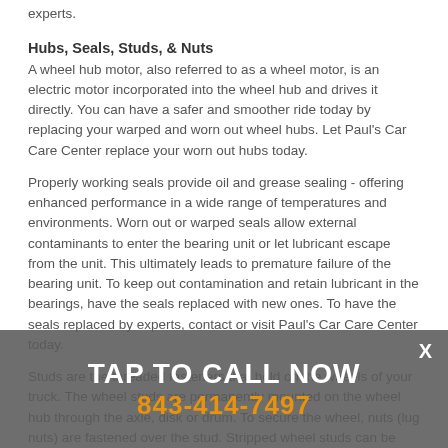experts.
Hubs, Seals, Studs, & Nuts
A wheel hub motor, also referred to as a wheel motor, is an electric motor incorporated into the wheel hub and drives it directly. You can have a safer and smoother ride today by replacing your warped and worn out wheel hubs. Let Paul's Car Care Center replace your worn out hubs today.
Properly working seals provide oil and grease sealing - offering enhanced performance in a wide range of temperatures and environments. Worn out or warped seals allow external contaminants to enter the bearing unit or let lubricant escape from the unit. This ultimately leads to premature failure of the bearing unit. To keep out contamination and retain lubricant in the bearings, have the seals replaced with new ones. To have the seals replaced by experts, contact or visit Paul's Car Care Center today.
Studs are the threaded fasteners that hold on the wheels of your truck. The wheel studs are permanently mounted on the wheel hub through the axle, disk or drum. To secure the wheel, nuts (lug nuts) are fastened over the stud. Stripped wheel studs can be quite dangerous. Damaged wheel studs should be replaced with new ones immediately. To have your
TAP TO CALL NOW
843-414-7497